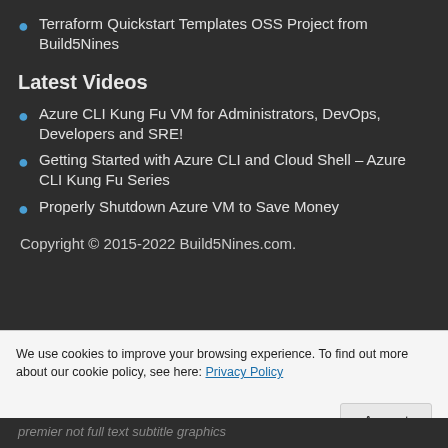Terraform Quickstart Templates OSS Project from Build5Nines
Latest Videos
Azure CLI Kung Fu VM for Administrators, DevOps, Developers and SRE!
Getting Started with Azure CLI and Cloud Shell – Azure CLI Kung Fu Series
Properly Shutdown Azure VM to Save Money
Copyright © 2015-2022 Build5Nines.com.
We use cookies to improve your browsing experience. To find out more about our cookie policy, see here: Privacy Policy
Accept